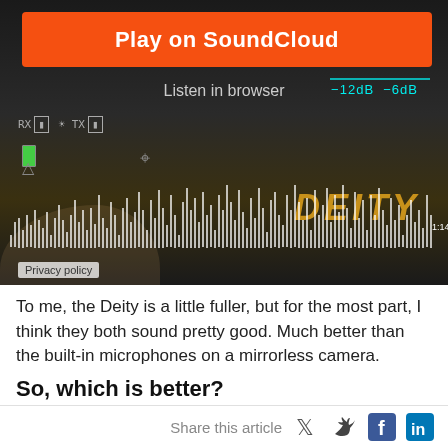[Figure (screenshot): SoundCloud embedded audio player widget showing 'Play on SoundCloud' orange button, 'Listen in browser' text, audio waveform visualization, DEITY logo, and Privacy policy link. Background shows a dark image of audio equipment.]
To me, the Deity is a little fuller, but for the most part, I think they both sound pretty good. Much better than the built-in microphones on a mirrorless camera.
So, which is better?
I think they are both very good, and each has a few strengths
Share this article